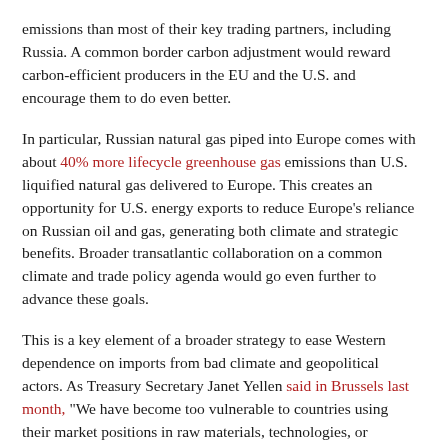emissions than most of their key trading partners, including Russia. A common border carbon adjustment would reward carbon-efficient producers in the EU and the U.S. and encourage them to do even better.
In particular, Russian natural gas piped into Europe comes with about 40% more lifecycle greenhouse gas emissions than U.S. liquified natural gas delivered to Europe. This creates an opportunity for U.S. energy exports to reduce Europe's reliance on Russian oil and gas, generating both climate and strategic benefits. Broader transatlantic collaboration on a common climate and trade policy agenda would go even further to advance these goals.
This is a key element of a broader strategy to ease Western dependence on imports from bad climate and geopolitical actors. As Treasury Secretary Janet Yellen said in Brussels last month, "We have become too vulnerable to countries using their market positions in raw materials, technologies, or products to exercise...